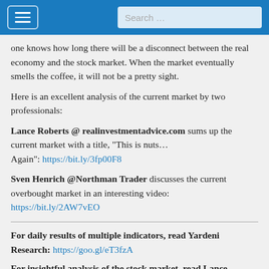Search …
one knows how long there will be a disconnect between the real economy and the stock market. When the market eventually smells the coffee, it will not be a pretty sight.
Here is an excellent analysis of the current market by two professionals:
Lance Roberts @ realinvestmentadvice.com sums up the current market with a title, "This is nuts… Again": https://bit.ly/3fp00F8
Sven Henrich @Northman Trader discusses the current overbought market in an interesting video: https://bit.ly/2AW7vEO
For daily results of multiple indicators, read Yardeni Research: https://goo.gl/eT3fzA
For insightful analysis of the stock market, read Lance